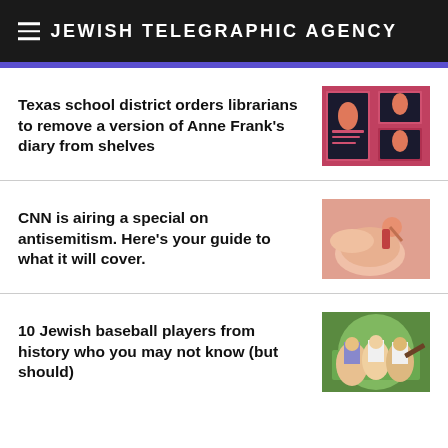JEWISH TELEGRAPHIC AGENCY
Texas school district orders librarians to remove a version of Anne Frank's diary from shelves
CNN is airing a special on antisemitism. Here's your guide to what it will cover.
10 Jewish baseball players from history who you may not know (but should)